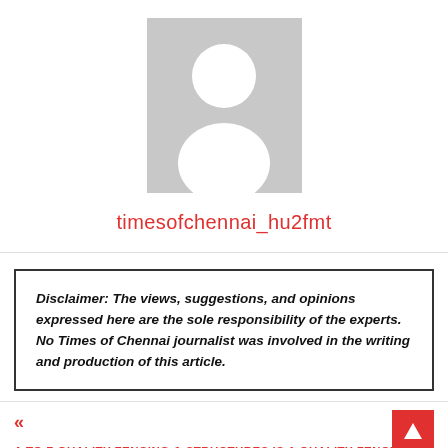[Figure (illustration): Generic user avatar placeholder image: grey rectangle with white silhouette of a person (circle head, rounded body)]
timesofchennai_hu2fmt
Disclaimer: The views, suggestions, and opinions expressed here are the sole responsibility of the experts. No Times of Chennai journalist was involved in the writing and production of this article.
« A TO Z QUALITY FENCING & STRUCTURES IS A QUALITY FENCING COMPANY…